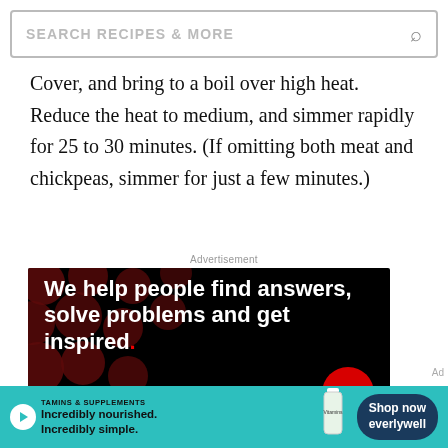SEARCH RECIPES & MORE
Cover, and bring to a boil over high heat. Reduce the heat to medium, and simmer rapidly for 25 to 30 minutes. (If omitting both meat and chickpeas, simmer for just a few minutes.)
Advertisement
[Figure (illustration): Black background advertisement with dark red polka dots pattern. Large white bold text reads: 'We help people find answers, solve problems and get inspired.' with a red period at the end. Bottom left shows 'LEARN MORE' in white caps. Bottom right has two circular icons.]
[Figure (illustration): Teal banner advertisement. Left side has play button icon in white circle followed by text 'VITAMINS & SUPPLEMENTS' in bold caps, then 'Incredibly nourished. Incredibly simple.' Center shows a supplement bottle image. Right side has dark blue rounded button with 'Shop now' and 'everlywell' text.]